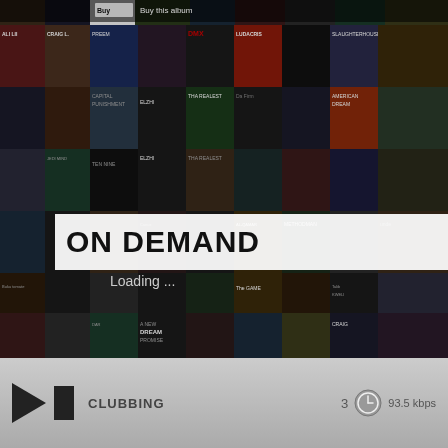[Figure (screenshot): Music streaming app screenshot showing a grid of hip-hop album covers in the background with an 'ON DEMAND' overlay box and 'Loading ...' text. A buy this album bar is visible at top. Player bar at bottom shows play/stop buttons, station 'CLUBBING', time '3', clock icon, and '93.5 kbps'.]
Buy this album
ON DEMAND
Loading ...
CLUBBING
3
93.5 kbps